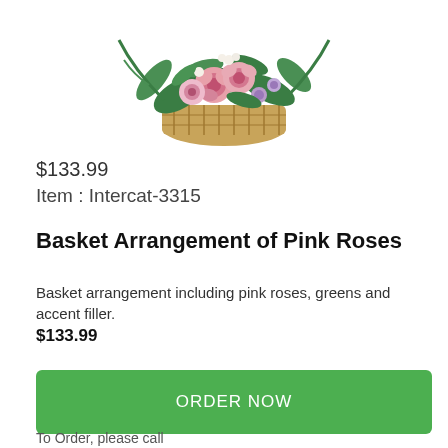[Figure (photo): Basket floral arrangement with pink roses, greenery, and accent filler flowers in a wicker basket, shown from above/front angle.]
$133.99
Item : Intercat-3315
Basket Arrangement of Pink Roses
Basket arrangement including pink roses, greens and accent filler.
$133.99
ORDER NOW
To Order, please call